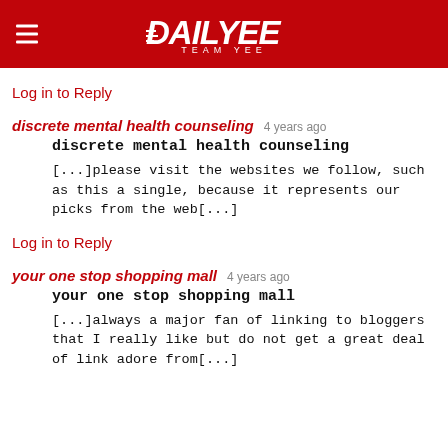DAILYEE TEAM YEE
Log in to Reply
discrete mental health counseling  4 years ago
discrete mental health counseling
[...]please visit the websites we follow, such as this a single, because it represents our picks from the web[...]
Log in to Reply
your one stop shopping mall  4 years ago
your one stop shopping mall
[...]always a major fan of linking to bloggers that I really like but do not get a great deal of link adore from[...]